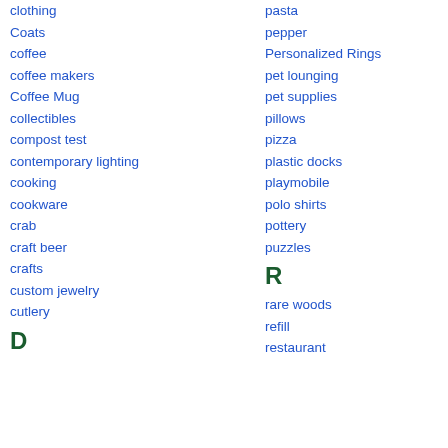clothing
Coats
coffee
coffee makers
Coffee Mug
collectibles
compost test
contemporary lighting
cooking
cookware
crab
craft beer
crafts
custom jewelry
cutlery
D
pasta
pepper
Personalized Rings
pet lounging
pet supplies
pillows
pizza
plastic docks
playmobile
polo shirts
pottery
puzzles
R
rare woods
refill
restaurant